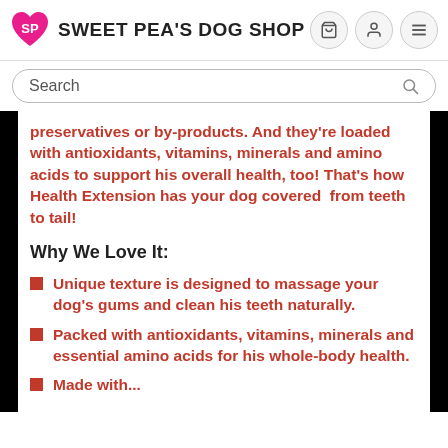Sweet Pea's Dog Shop
Search
preservatives or by-products. And they're loaded with antioxidants, vitamins, minerals and amino acids to support his overall health, too! That's how Health Extension has your dog covered  from teeth to tail!
Why We Love It:
Unique texture is designed to massage your dog's gums and clean his teeth naturally.
Packed with antioxidants, vitamins, minerals and essential amino acids for his whole-body health.
Made with...